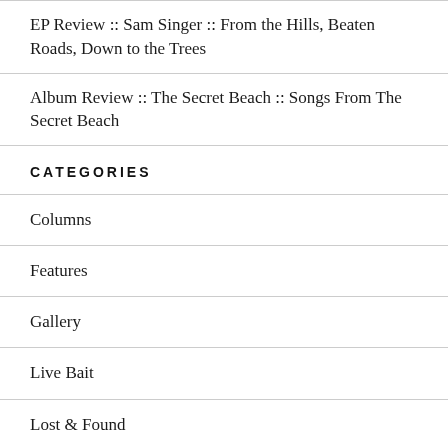EP Review :: Sam Singer :: From the Hills, Beaten Roads, Down to the Trees
Album Review :: The Secret Beach :: Songs From The Secret Beach
CATEGORIES
Columns
Features
Gallery
Live Bait
Lost & Found
News